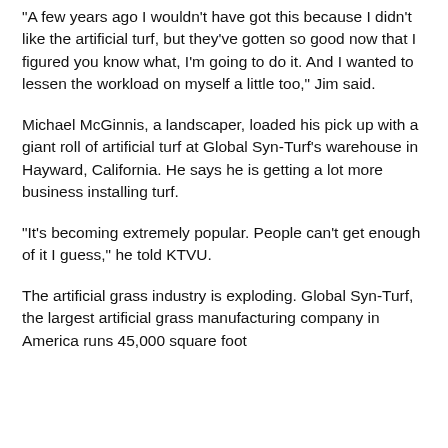"A few years ago I wouldn't have got this because I didn't like the artificial turf, but they've gotten so good now that I figured you know what, I'm going to do it. And I wanted to lessen the workload on myself a little too," Jim said.
Michael McGinnis, a landscaper, loaded his pick up with a giant roll of artificial turf at Global Syn-Turf's warehouse in Hayward, California. He says he is getting a lot more business installing turf.
"It's becoming extremely popular. People can't get enough of it I guess," he told KTVU.
The artificial grass industry is exploding. Global Syn-Turf, the largest artificial grass manufacturing company in America runs 45,000 square foot warehouse in Hayward. But the place can't keep...